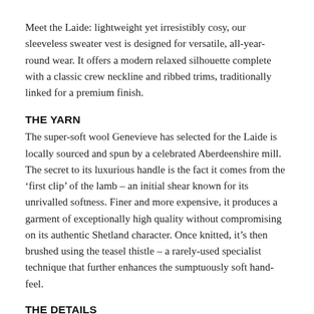Meet the Laide: lightweight yet irresistibly cosy, our sleeveless sweater vest is designed for versatile, all-year-round wear. It offers a modern relaxed silhouette complete with a classic crew neckline and ribbed trims, traditionally linked for a premium finish.
THE YARN
The super-soft wool Genevieve has selected for the Laide is locally sourced and spun by a celebrated Aberdeenshire mill. The secret to its luxurious handle is the fact it comes from the ‘first clip’ of the lamb – an initial shear known for its unrivalled softness. Finer and more expensive, it produces a garment of exceptionally high quality without compromising on its authentic Shetland character. Once knitted, it’s then brushed using the teasel thistle – a rarely-used specialist technique that further enhances the sumptuously soft hand-feel.
THE DETAILS
Genevieve creates the Laide’s dramatic burgundy hue through a carefully-balanced and truly unique colour melange. Capturing the richness of a burgundy wine, it blends ruby, spiced plum and claret red with hints of charcoal grey.